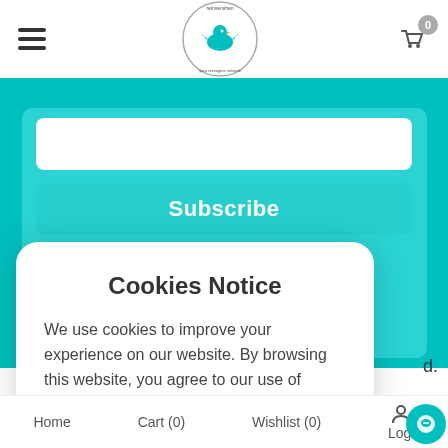reinvenshen – navigation header with hamburger menu, logo, and cart (0)
[Figure (screenshot): Teal background area with white rounded search input box and a teal Subscribe button]
Subscribe
Cookies Notice
We use cookies to improve your experience on our website. By browsing this website, you agree to our use of cookies.
Yes, I Accept
Home   Cart (0)   Wishlist (0)   Login